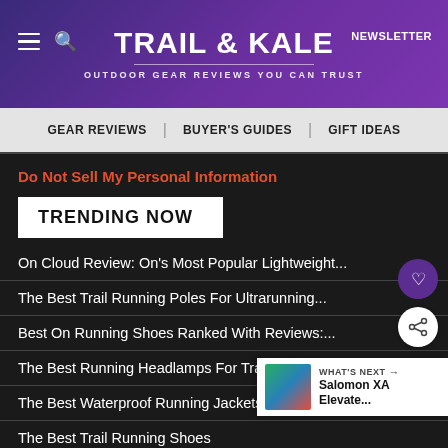TRAIL & KALE | OUTDOOR GEAR REVIEWS YOU CAN TRUST | NEWSLETTER
GEAR REVIEWS | BUYER'S GUIDES | GIFT IDEAS
Do Not Sell My Personal Information
TRENDING NOW
On Cloud Review: On's Most Popular Lightweight...
The Best Trail Running Poles For Ultrarunning...
Best On Running Shoes Ranked With Reviews:...
The Best Running Headlamps For Trail Running...
The Best Waterproof Running Jackets for M...
The Best Trail Running Shoes